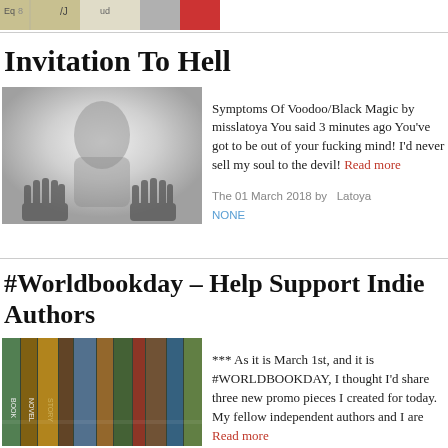[Figure (photo): Partial view of a document or notes image at the top of the page]
Invitation To Hell
[Figure (photo): Blurry hands pressed against a foggy glass surface, black and white]
Symptoms Of Voodoo/Black Magic by misslatoya You said 3 minutes ago You've got to be out of your fucking mind! I'd never sell my soul to the devil! Read more
The 01 March 2018 by Latoya
NONE
#Worldbookday – Help Support Indie Authors
[Figure (photo): Stack of colorful books viewed from the side, close-up]
*** As it is March 1st, and it is #WORLDBOOKDAY, I thought I'd share three new promo pieces I created for today. My fellow independent authors and I are Read more
The 01 March 2018 by Steph's Scribe